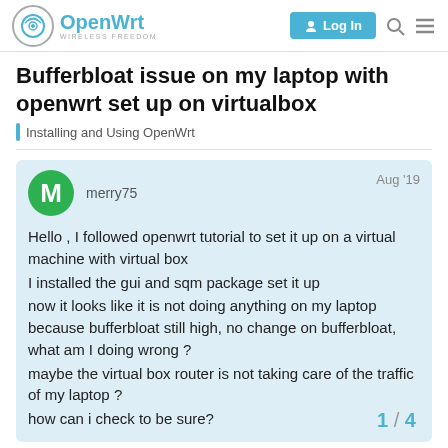OpenWrt — WIRELESS FREEDOM — Log In
Bufferbloat issue on my laptop with openwrt set up on virtualbox
Installing and Using OpenWrt
merry75 Aug '19
Hello , I followed openwrt tutorial to set it up on a virtual machine with virtual box
I installed the gui and sqm package set it up
now it looks like it is not doing anything on my laptop because bufferbloat still high, no change on bufferbloat, what am I doing wrong ?
maybe the virtual box router is not taking care of the traffic of my laptop ?
how can i check to be sure?
1 / 4